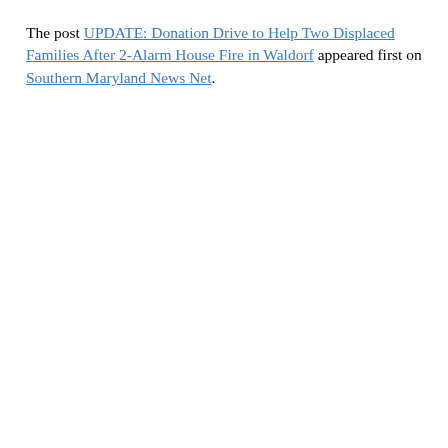The post UPDATE: Donation Drive to Help Two Displaced Families After 2-Alarm House Fire in Waldorf appeared first on Southern Maryland News Net.